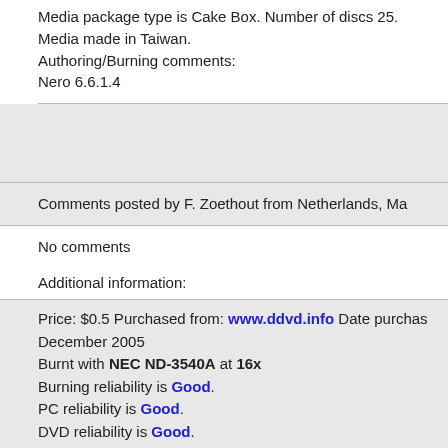Media package type is Cake Box. Number of discs 25. Media made in Taiwan. Authoring/Burning comments: Nero 6.6.1.4
Comments posted by F. Zoethout from Netherlands, Ma
No comments
Additional information:
Price: $0.5 Purchased from: www.ddvd.info Date purchased: December 2005
Burnt with NEC ND-3540A at 16x
Burning reliability is Good.
PC reliability is Good.
DVD reliability is Good.
Media color is Blue.
Media text is Philips DVD+r 4.7G 120 min 1-16 Speed.